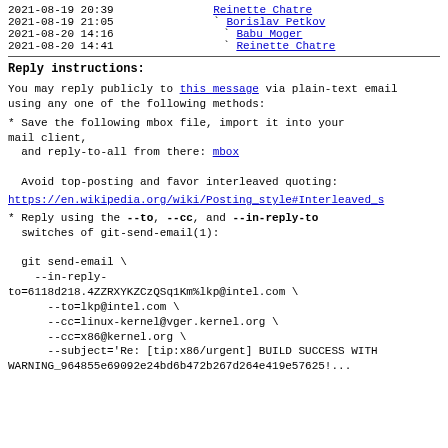| Date | Author |
| --- | --- |
| 2021-08-19 20:39 | Reinette Chatre |
| 2021-08-19 21:05 | ` Borislav Petkov |
| 2021-08-20 14:16 | ` Babu Moger |
| 2021-08-20 14:41 | ` Reinette Chatre |
Reply instructions:
You may reply publicly to this message via plain-text email
using any one of the following methods:
* Save the following mbox file, import it into your mail client,
  and reply-to-all from there: mbox

  Avoid top-posting and favor interleaved quoting:
https://en.wikipedia.org/wiki/Posting_style#Interleaved_s
* Reply using the --to, --cc, and --in-reply-to
  switches of git-send-email(1):

  git send-email \
    --in-reply-to=6118d218.4ZZRXYKZCzQSq1Km%lkp@intel.com \
      --to=lkp@intel.com \
      --cc=linux-kernel@vger.kernel.org \
      --cc=x86@kernel.org \
      --subject='Re: [tip:x86/urgent] BUILD SUCCESS WITH
WARNING_964855e69092e24bd6b472b267d264e419e57625!...'